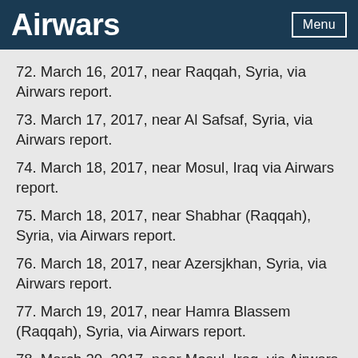Airwars  Menu
72. March 16, 2017, near Raqqah, Syria, via Airwars report.
73. March 17, 2017, near Al Safsaf, Syria, via Airwars report.
74. March 18, 2017, near Mosul, Iraq via Airwars report.
75. March 18, 2017, near Shabhar (Raqqah), Syria, via Airwars report.
76. March 18, 2017, near Azersjkhan, Syria, via Airwars report.
77. March 19, 2017, near Hamra Blassem (Raqqah), Syria, via Airwars report.
78. March 20, 2017, near Mosul, Iraq, via Airwars report.